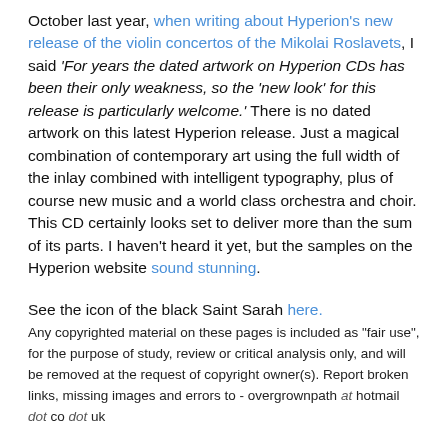October last year, when writing about Hyperion's new release of the violin concertos of the Mikolai Roslavets, I said 'For years the dated artwork on Hyperion CDs has been their only weakness, so the 'new look' for this release is particularly welcome.' There is no dated artwork on this latest Hyperion release. Just a magical combination of contemporary art using the full width of the inlay combined with intelligent typography, plus of course new music and a world class orchestra and choir. This CD certainly looks set to deliver more than the sum of its parts. I haven't heard it yet, but the samples on the Hyperion website sound stunning.
See the icon of the black Saint Sarah here.
Any copyrighted material on these pages is included as "fair use", for the purpose of study, review or critical analysis only, and will be removed at the request of copyright owner(s). Report broken links, missing images and errors to - overgrownpath at hotmail dot co dot uk